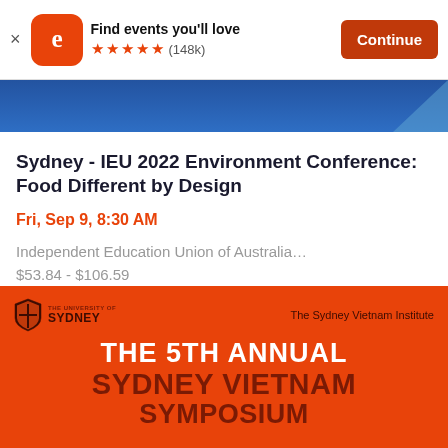[Figure (screenshot): App store banner with Eventbrite logo, 'Find events you'll love', 5 stars (148k), and Continue button]
[Figure (screenshot): Blue decorative banner strip from event listing page]
Sydney - IEU 2022 Environment Conference: Food Different by Design
Fri, Sep 9, 8:30 AM
Independent Education Union of Australia…
$53.84 - $106.59
[Figure (screenshot): Red promotional banner for The 5th Annual Sydney Vietnam Symposium, with University of Sydney and Sydney Vietnam Institute logos]